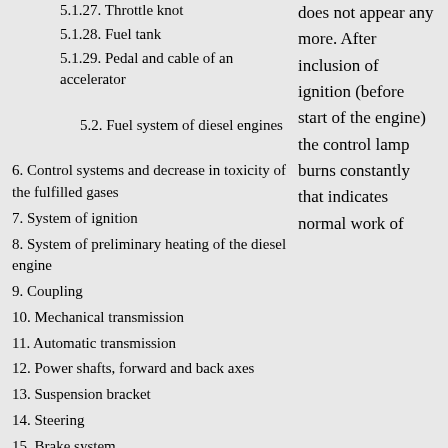5.1.27. Throttle knot
5.1.28. Fuel tank
5.1.29. Pedal and cable of an accelerator
5.2. Fuel system of diesel engines
6. Control systems and decrease in toxicity of the fulfilled gases
7. System of ignition
8. System of preliminary heating of the diesel engine
9. Coupling
10. Mechanical transmission
11. Automatic transmission
12. Power shafts, forward and back axes
13. Suspension bracket
14. Steering
15. Brake system
16. Body
17. Air conditioning system
18. Electric equipment
19. Electric circuits
does not appear any more. After inclusion of ignition (before start of the engine) the control lamp burns constantly that indicates normal work of